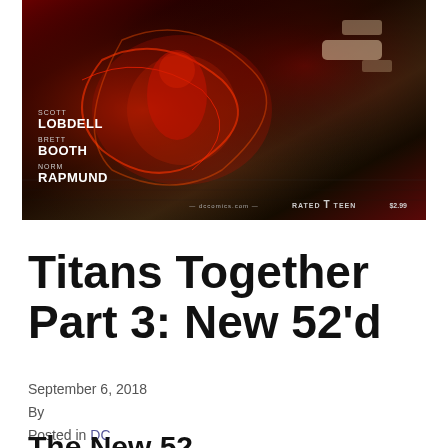[Figure (illustration): Comic book cover for Teen Titans featuring a character in red suit with energy effects. Credits shown: Scott Lobdell (writer), Brett Booth (artist), Norm Rapmund (artist). DC Comics branding, dccomics.com, Rated T, price visible.]
Titans Together Part 3: New 52'd
September 6, 2018
By
Posted in DC
The New 52